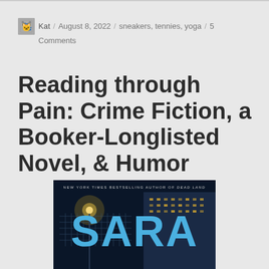Kat / August 8, 2022 / sneakers, tennies, yoga / 5 Comments
Reading through Pain: Crime Fiction, a Booker-Longlisted Novel, & Humor
[Figure (photo): Book cover showing 'SARA' in large blue letters with dark nighttime city background, tagline 'New York Times Bestselling Author of Dead Land' at top]